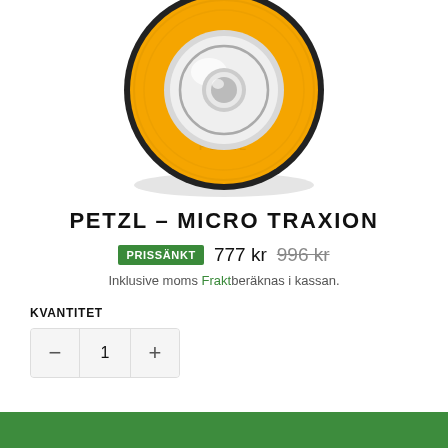[Figure (photo): Close-up photo of a Petzl Micro Traxion pulley device, yellow/orange body with silver/chrome wheel and black accents, shown from front, cropped at top]
PETZL – MICRO TRAXION
PRISSÄNKT  777 kr  996 kr
Inklusive moms Frakt beräknas i kassan.
KVANTITET
– 1 +